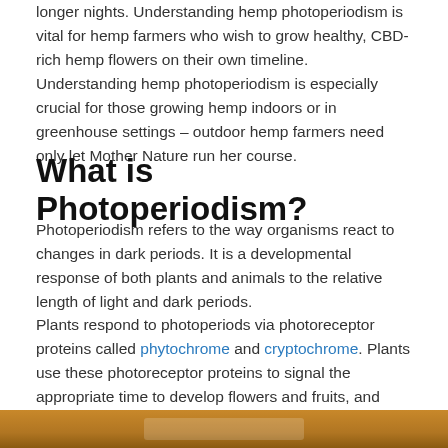longer nights. Understanding hemp photoperiodism is vital for hemp farmers who wish to grow healthy, CBD-rich hemp flowers on their own timeline. Understanding hemp photoperiodism is especially crucial for those growing hemp indoors or in greenhouse settings – outdoor hemp farmers need only let Mother Nature run her course.
What is Photoperiodism?
Photoperiodism refers to the way organisms react to changes in dark periods. It is a developmental response of both plants and animals to the relative length of light and dark periods.
Plants respond to photoperiods via photoreceptor proteins called phytochrome and cryptochrome. Plants use these photoreceptor proteins to signal the appropriate time to develop flowers and fruits, and when to shed old growth in preparation for wintertime. Short nights and long days trigger some plants, whereas long nights and short days trigger others.
[Figure (photo): Bottom edge of a photograph showing a warm brown/amber scene, partially visible at the bottom of the page.]